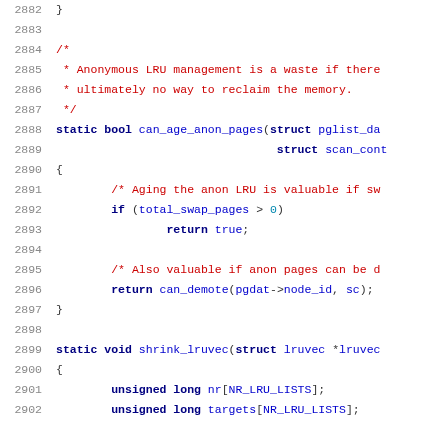[Figure (screenshot): Source code listing showing C code lines 2882-2902, with line numbers on the left in gray, comments in red, keywords in dark blue, identifiers in blue, numbers in teal. Shows functions can_age_anon_pages and shrink_lruvec with variable declarations.]